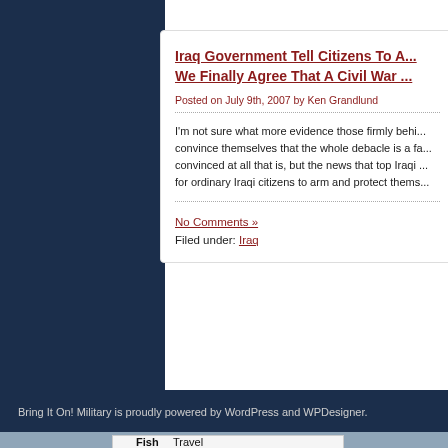Iraq Government Tell Citizens To A... We Finally Agree That A Civil War ...
Posted on July 9th, 2007 by Ken Grandlund
I'm not sure what more evidence those firmly behi... convince themselves that the whole debacle is a fa... convinced at all that is, but the news that top Iraqi ... for ordinary Iraqi citizens to arm and protect thems...
No Comments »
Filed under: Iraq
Bring It On! Military is proudly powered by WordPress and WPDesigner.
[Figure (logo): FishTravel logo with text and fish hook icon on white background]